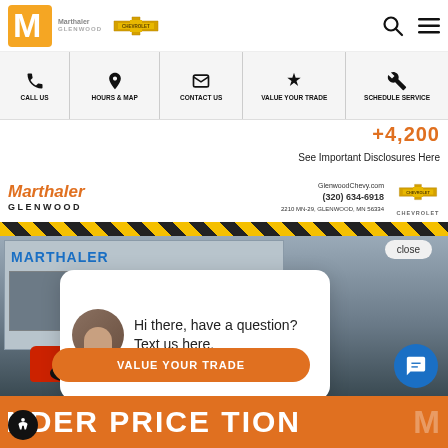[Figure (screenshot): Marthaler Glenwood Chevrolet dealership website screenshot showing navigation header with logo, nav bar with call us/hours/contact/trade/service links, a chat popup saying 'Hi there, have a question? Text us here.', dealership photo with red truck, VALUE YOUR TRADE button, and bottom orange banner reading UNDER PRICE.]
Marthaler Glenwood Chevrolet
CALL US | HOURS & MAP | CONTACT US | VALUE YOUR TRADE | SCHEDULE SERVICE
See Important Disclosures Here
Marthaler GLENWOOD
GlenwoodChevy.com (320) 634-6918 2210 MN-29, GLENWOOD, MN 56334
close
Hi there, have a question? Text us here.
VALUE YOUR TRADE
NDER PRICE TION